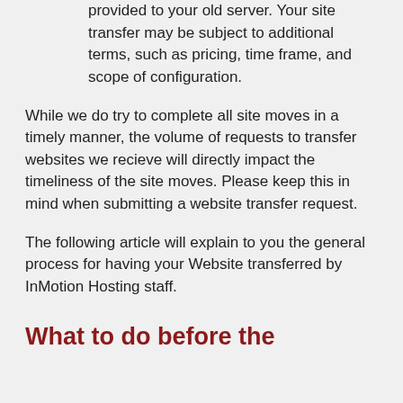provided to your old server. Your site transfer may be subject to additional terms, such as pricing, time frame, and scope of configuration.
While we do try to complete all site moves in a timely manner, the volume of requests to transfer websites we recieve will directly impact the timeliness of the site moves. Please keep this in mind when submitting a website transfer request.
The following article will explain to you the general process for having your Website transferred by InMotion Hosting staff.
What to do before the